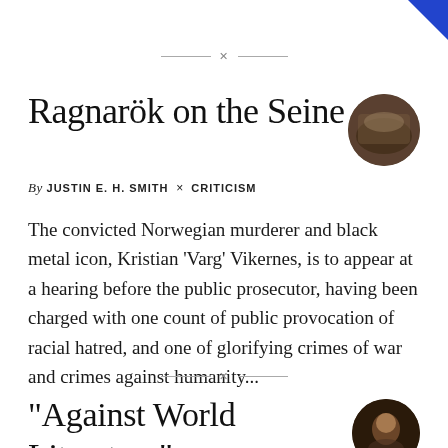✕
Ragnarök on the Seine
By JUSTIN E. H. SMITH × CRITICISM
The convicted Norwegian murderer and black metal icon, Kristian 'Varg' Vikernes, is to appear at a hearing before the public prosecutor, having been charged with one count of public provocation of racial hatred, and one of glorifying crimes of war and crimes against humanity...
✕
"Against World Literature":